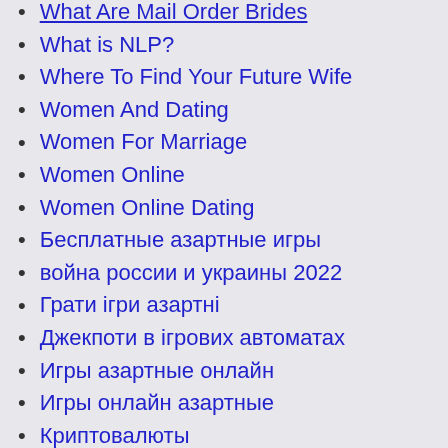What Are Mail Order Brides
What is NLP?
Where To Find Your Future Wife
Women And Dating
Women For Marriage
Women Online
Women Online Dating
Бесплатные азартные игры
война россии и украины 2022
Грати ігри азартні
Джекпоти в ігрових автоматах
Игры азартные онлайн
Игры онлайн азартные
Криптовалюты
Рейтинг казино
Форекс Брокеры
Форекс Обучение